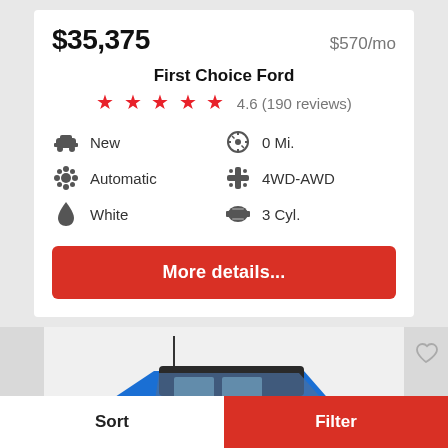$35,375   $570/mo
First Choice Ford
★★★★★ 4.6 (190 reviews)
New
0 Mi.
Automatic
4WD-AWD
White
3 Cyl.
More details...
[Figure (photo): Blue SUV/Ford Bronco-style vehicle viewed from front-side angle, partially visible]
Sort   Filter